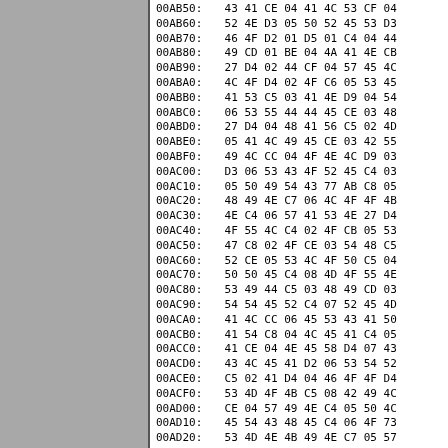[Figure (other): Grey panel on left side of page]
00AB50: 43 41 CE 04 41 4C 53 CF 04
00AB60: 52 4E D3 05 50 52 45 53 D3
00AB70: 46 4F D2 01 D5 01 C4 04 44
00AB80: 49 CD 01 BE 04 4A 41 4E CB
00AB90: 27 D4 02 44 CF 04 57 45 4C
00ABA0: 4C 4F D4 02 4F C6 05 53 45
00ABB0: 41 53 C5 03 41 4E D9 04 54
00ABC0: 06 53 55 44 44 45 CE 03 48
00ABD0: 27 D4 04 48 41 56 C5 02 4D
00ABE0: 05 41 4C 49 45 CE 03 42 55
00ABF0: 49 4C CC 04 4F 4E 4C D9 03
00AC00: D3 06 53 43 4F 52 45 C4 03
00AC10: 05 50 49 54 43 77 AB C8 05
00AC20: 48 49 4E C7 06 4C 4F 4F 4B
00AC30: 4E C4 06 57 41 53 4E 27 D4
00AC40: 4F 55 4C C4 02 4F CB 05 53
00AC50: 47 C8 02 4F CE 03 54 48 C5
00AC60: 52 CE 05 53 4C 4F 50 C5 04
00AC70: 50 50 45 C4 08 4D 4F 55 4E
00AC80: 53 49 44 C5 03 48 49 CD 03
00AC90: 54 54 45 52 C4 07 52 45 4D
00ACA0: 41 4C CC 06 45 53 43 41 50
00ACB0: 41 54 C8 04 4C 45 41 C4 05
00ACC0: 41 CE 04 4E 45 58 D4 07 43
00ACD0: 43 4C 45 41 D2 06 53 54 52
00ACE0: C5 02 41 D4 04 46 4F 4F D4
00ACF0: 53 4D 4F 4B C5 08 42 49 4C
00AD00: CE 04 57 49 4E C4 05 50 4C
00AD10: 45 54 43 48 45 C4 06 4F 73
00AD20: 53 4D 4E 4B 49 4E C7 05 57